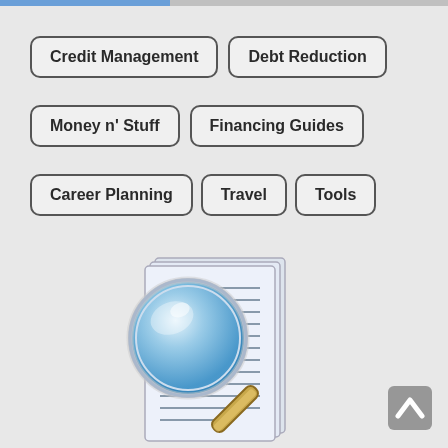Credit Management
Debt Reduction
Money n' Stuff
Financing Guides
Career Planning
Travel
Tools
[Figure (illustration): A magnifying glass over a stack of documents with horizontal lines, representing research or document search. Gold-handled magnifying glass with blue tinted lens.]